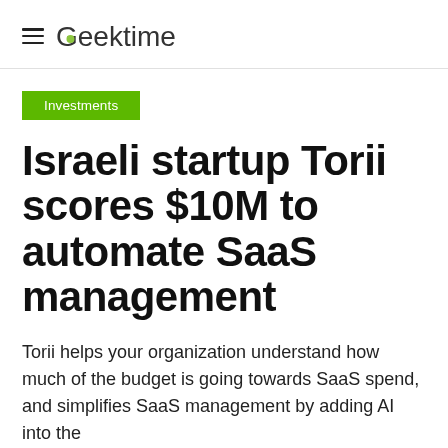Geektime
Investments
Israeli startup Torii scores $10M to automate SaaS management
Torii helps your organization understand how much of the budget is going towards SaaS spend, and simplifies SaaS management by adding AI into the